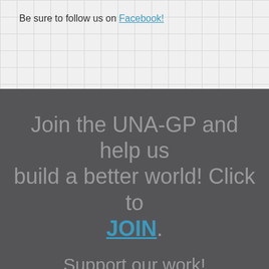Be sure to follow us on Facebook!
Join the UNA-GP and help us build a better world! Click to JOIN. Support our work!
DONATE